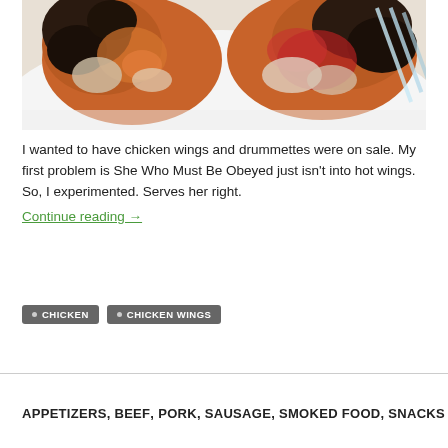[Figure (photo): Close-up photo of cooked chicken wings and drummettes on a white plate, looking glazed and charred, with a fork visible on the right side]
I wanted to have chicken wings and drummettes were on sale. My first problem is She Who Must Be Obeyed just isn't into hot wings. So, I experimented. Serves her right.
Continue reading →
CHICKEN
CHICKEN WINGS
APPETIZERS, BEEF, PORK, SAUSAGE, SMOKED FOOD, SNACKS